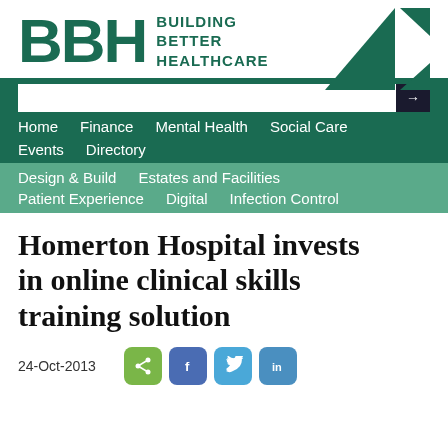[Figure (logo): BBH Building Better Healthcare logo with green triangles]
Home   Finance   Mental Health   Social Care   Events   Directory
Design & Build   Estates and Facilities   Patient Experience   Digital   Infection Control
Homerton Hospital invests in online clinical skills training solution
24-Oct-2013